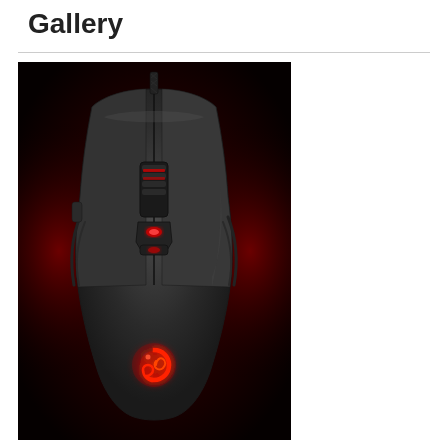Gallery
[Figure (photo): Top-down view of a black gaming mouse with red LED lighting, a scroll wheel, DPI adjustment buttons, and a glowing red swirl/flame brand logo on the lower body. The mouse has an ergonomic shape with contoured side grips and a braided cable at the top. Background is dark/black with a red glow effect.]